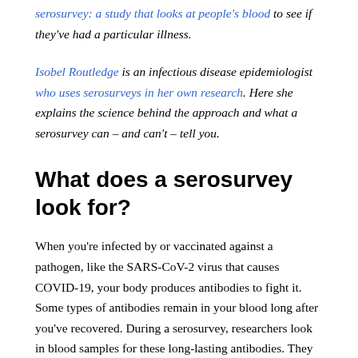serosurvey: a study that looks at people's blood to see if they've had a particular illness.
Isobel Routledge is an infectious disease epidemiologist who uses serosurveys in her own research. Here she explains the science behind the approach and what a serosurvey can – and can't – tell you.
What does a serosurvey look for?
When you're infected by or vaccinated against a pathogen, like the SARS-CoV-2 virus that causes COVID-19, your body produces antibodies to fight it. Some types of antibodies remain in your blood long after you've recovered. During a serosurvey, researchers look in blood samples for these long-lasting antibodies. They act as markers of past exposure to the pathogen.